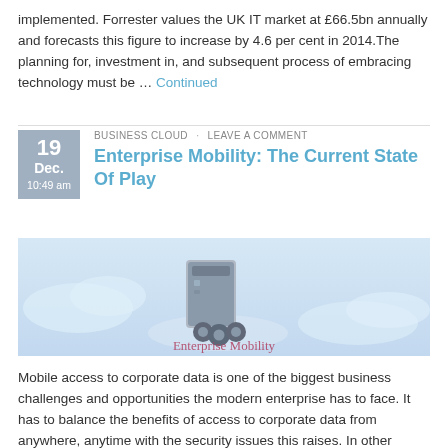implemented. Forrester values the UK IT market at £66.5bn annually and forecasts this figure to increase by 4.6 per cent in 2014.The planning for, investment in, and subsequent process of embracing technology must be … Continued
BUSINESS CLOUD · LEAVE A COMMENT
Enterprise Mobility: The Current State Of Play
[Figure (illustration): An illustration of a computer tower on wheels with the text 'Enterprise Mobility' written below it, set against a light blue cloudy background.]
Mobile access to corporate data is one of the biggest business challenges and opportunities the modern enterprise has to face. It has to balance the benefits of access to corporate data from anywhere, anytime with the security issues this raises. In other words, can the corporation secure its most precious assets while